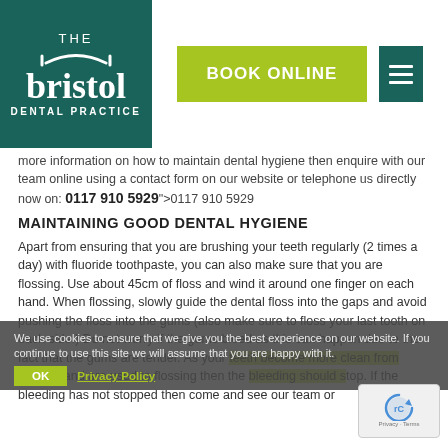[Figure (logo): The Bristol Dental Practice logo — teal/dark green background with white text and smile icon]
[Figure (other): Green 'BOOK ONLINE' button and teal hamburger menu button in header]
more information on how to maintain dental hygiene then enquire with our team online using a contact form on our website or telephone us directly now on: 0117 910 5929">0117 910 5929
MAINTAINING GOOD DENTAL HYGIENE
Apart from ensuring that you are brushing your teeth regularly (2 times a day) with fluoride toothpaste, you can also make sure that you are flossing. Use about 45cm of floss and wind it around one finger on each hand. When flossing, slowly guide the dental floss into the gaps and avoid pushing the floss into the gums (also make sure to floss your last tooth on each side.) Do not worry if the gums bleed as this can happen due to the fact that the gums are tender. As your teeth become more clean from flossing and are used to flossing then the bleeding should stop. If the bleeding has not stopped then come and see our team or
We use cookies to ensure that we give you the best experience on our website. If you continue to use this site we will assume that you are happy with it.
OK   Privacy Policy